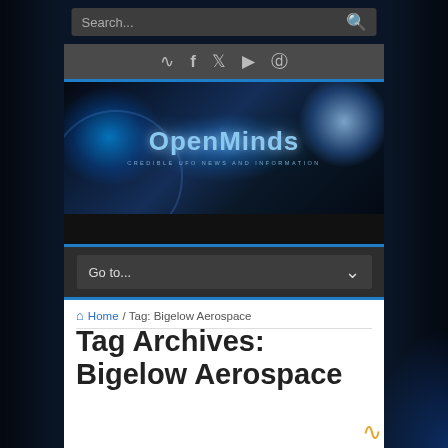Search...
[Figure (screenshot): OpenMinds website header with social media icons (RSS, Facebook, Twitter, YouTube, Instagram) and navigation bar with Go to... dropdown]
[Figure (logo): OpenMinds logo banner with blue cosmic/space background and text: OpenMinds - CREDIBLE UFO NEWS AND INFORMATION]
Home / Tag: Bigelow Aerospace
Tag Archives: Bigelow Aerospace